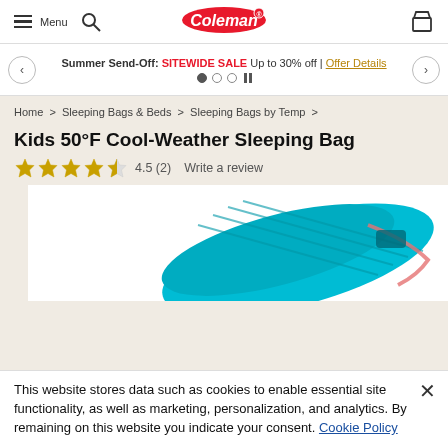Menu | Coleman | [search icon] [cart icon]
Summer Send-Off: SITEWIDE SALE Up to 30% off | Offer Details
Home > Sleeping Bags & Beds > Sleeping Bags by Temp >
Kids 50°F Cool-Weather Sleeping Bag
4.5 (2)   Write a review
[Figure (photo): Teal/turquoise kids sleeping bag shown from above, partially unrolled]
This website stores data such as cookies to enable essential site functionality, as well as marketing, personalization, and analytics. By remaining on this website you indicate your consent. Cookie Policy